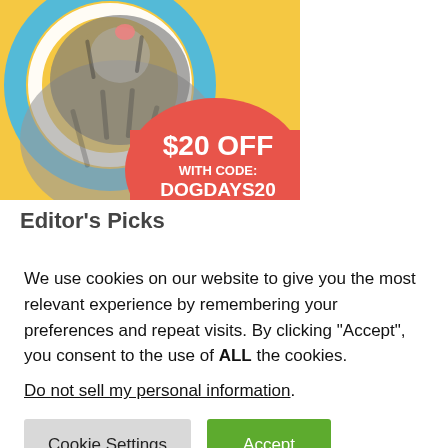[Figure (photo): Advertisement showing a dog (shih tzu) with colorful circular design elements (blue, white, yellow rings) on a yellow background, with a red/coral semi-circle overlay showing '$20 OFF WITH CODE: DOGDAYS20' in white bold text]
Editor's Picks
We use cookies on our website to give you the most relevant experience by remembering your preferences and repeat visits. By clicking “Accept”, you consent to the use of ALL the cookies.
Do not sell my personal information.
Cookie Settings
Accept